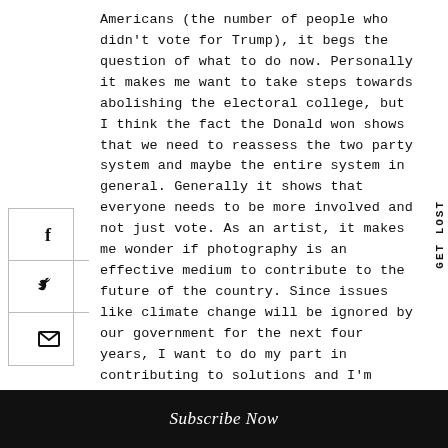Americans (the number of people who didn't vote for Trump), it begs the question of what to do now. Personally it makes me want to take steps towards abolishing the electoral college, but I think the fact the Donald won shows that we need to reassess the two party system and maybe the entire system in general. Generally it shows that everyone needs to be more involved and not just vote. As an artist, it makes me wonder if photography is an effective medium to contribute to the future of the country. Since issues like climate change will be ignored by our government for the next four years, I want to do my part in contributing to solutions and I'm hoping that I can address these issues that will continue to go unaddressed through photography.
Subscribe Now